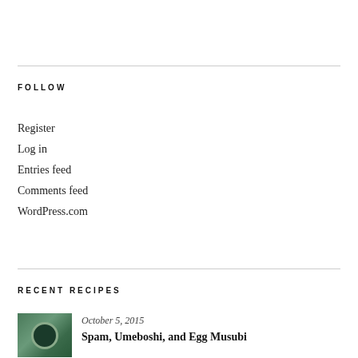FOLLOW
Register
Log in
Entries feed
Comments feed
WordPress.com
RECENT RECIPES
[Figure (photo): Small thumbnail image of a cup or bowl, likely containing food or drink, with green/dark tones]
October 5, 2015
Spam, Umeboshi, and Egg Musubi